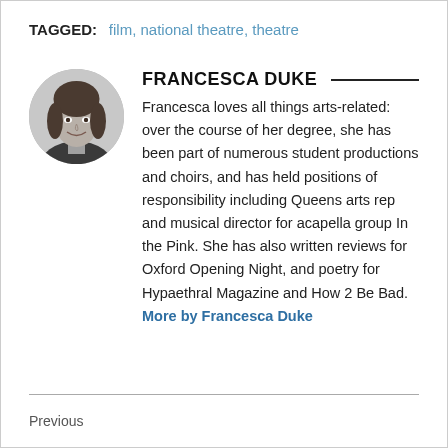TAGGED:   film, national theatre, theatre
[Figure (photo): Black and white circular portrait photo of Francesca Duke]
FRANCESCA DUKE
Francesca loves all things arts-related: over the course of her degree, she has been part of numerous student productions and choirs, and has held positions of responsibility including Queens arts rep and musical director for acapella group In the Pink. She has also written reviews for Oxford Opening Night, and poetry for Hypaethral Magazine and How 2 Be Bad. More by Francesca Duke
Previous